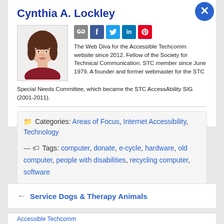Cynthia A. Lockley
[Figure (photo): Portrait photo of Cynthia A. Lockley, a woman with brown hair wearing a dark red top]
The Web Diva for the Accessible Techcomm website since 2012. Fellow of the Society for Technical Communication. STC member since June 1979. A founder and former webmaster for the STC Special Needs Committee, which became the STC AccessAbility SIG (2001-2011).
Categories: Areas of Focus, Internet Accessibility, Technology
Tags: computer, donate, e-cycle, hardware, old computer, people with disabilities, recycling computer, software
← Service Dogs & Therapy Animals
Accessible Techcomm